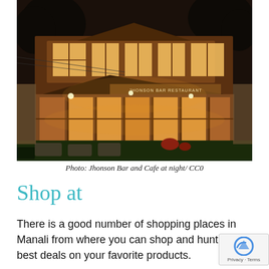[Figure (photo): Jhonson Bar and Restaurant illuminated at night with warm golden light through large glass windows, stone pathway in foreground, trees in background]
Photo: Jhonson Bar and Cafe at night/ CC0
Shop at
There is a good number of shopping places in Manali from where you can shop and hunt for best deals on your favorite products.